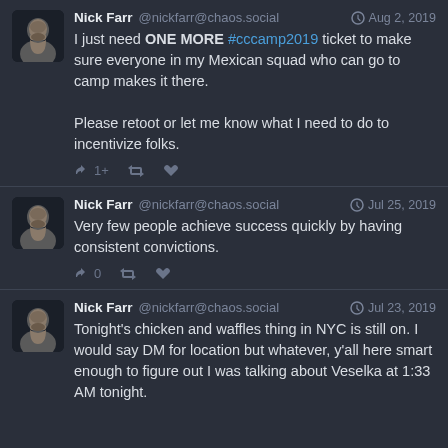[Figure (screenshot): Three Mastodon social media posts by Nick Farr @nickfarr@chaos.social]
Nick Farr @nickfarr@chaos.social Aug 2, 2019 I just need ONE MORE #cccamp2019 ticket to make sure everyone in my Mexican squad who can go to camp makes it there. Please retoot or let me know what I need to do to incentivize folks.
Nick Farr @nickfarr@chaos.social Jul 25, 2019 Very few people achieve success quickly by having consistent convictions.
Nick Farr @nickfarr@chaos.social Jul 23, 2019 Tonight's chicken and waffles thing in NYC is still on. I would say DM for location but whatever, y'all here smart enough to figure out I was talking about Veselka at 1:33 AM tonight.